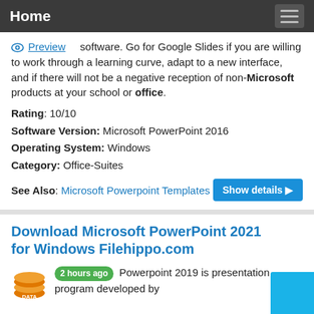Home
Preview  software. Go for Google Slides if you are willing to work through a learning curve, adapt to a new interface, and if there will not be a negative reception of non-Microsoft products at your school or office.
Rating: 10/10
Software Version: Microsoft PowerPoint 2016
Operating System: Windows
Category: Office-Suites
See Also: Microsoft Powerpoint Templates
Download Microsoft PowerPoint 2021 for Windows Filehippo.com
2 hours ago  Powerpoint 2019 is presentation program developed by